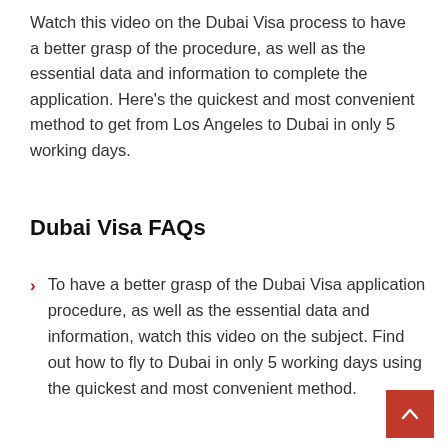Watch this video on the Dubai Visa process to have a better grasp of the procedure, as well as the essential data and information to complete the application. Here's the quickest and most convenient method to get from Los Angeles to Dubai in only 5 working days.
Dubai Visa FAQs
To have a better grasp of the Dubai Visa application procedure, as well as the essential data and information, watch this video on the subject. Find out how to fly to Dubai in only 5 working days using the quickest and most convenient method.